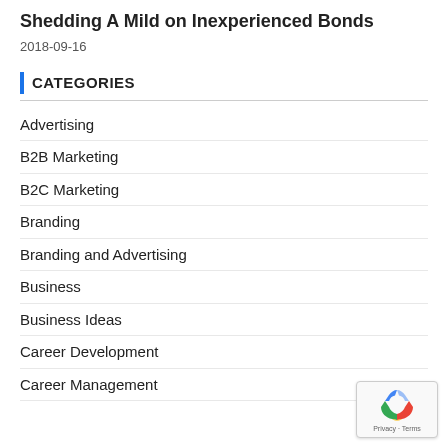Shedding A Mild on Inexperienced Bonds
2018-09-16
CATEGORIES
Advertising
B2B Marketing
B2C Marketing
Branding
Branding and Advertising
Business
Business Ideas
Career Development
Career Management